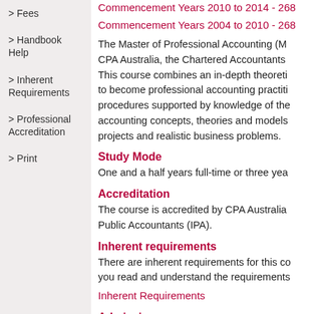> Fees
> Handbook Help
> Inherent Requirements
> Professional Accreditation
> Print
Commencement Years 2010 to 2014 - 268...
Commencement Years 2004 to 2010 - 268...
The Master of Professional Accounting (M... CPA Australia, the Chartered Accountants... This course combines an in-depth theoreti... to become professional accounting practiti... procedures supported by knowledge of the... accounting concepts, theories and models... projects and realistic business problems.
Study Mode
One and a half years full-time or three yea...
Accreditation
The course is accredited by CPA Australia... Public Accountants (IPA).
Inherent requirements
There are inherent requirements for this co... you read and understand the requirements...
Inherent Requirements
Admission
Applicants must have successfully comple...
Or
Successfully completed a Graduate Certifi...